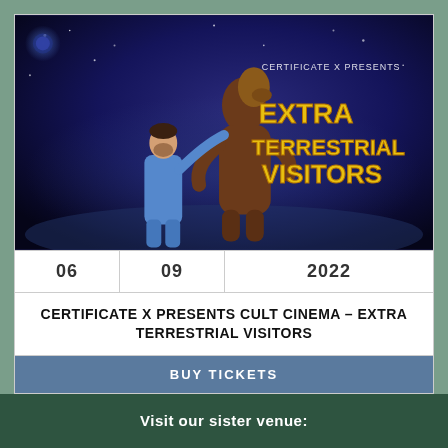[Figure (illustration): Movie poster for 'Extra Terrestrial Visitors' (Certificate X Presents). Shows a man in blue jumpsuit with a large alien creature against a space/blue background. Yellow text reads EXTRA TERRESTRIAL VISITORS.]
06  09  2022
CERTIFICATE X PRESENTS CULT CINEMA – EXTRA TERRESTRIAL VISITORS
BUY TICKETS
Visit our sister venue:
[Figure (logo): Small crown/castle icon in gold/yellow]